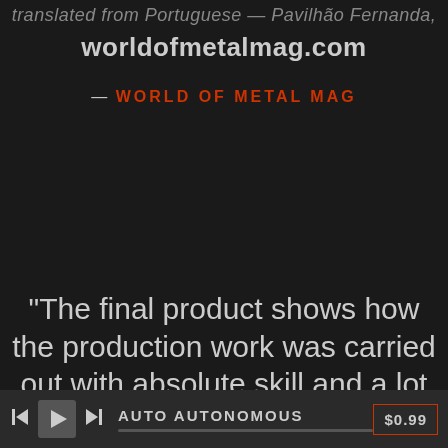worldofmetalmag.com
— WORLD OF METAL MAG
“The final product shows how the production work was carried out with absolute skill and a lot of dedication, so much so as to make us almost forget that we are dealing with live recordings: the aspect that stands out immediately in fact is
AUTO AUTONOMOUS   $0.99